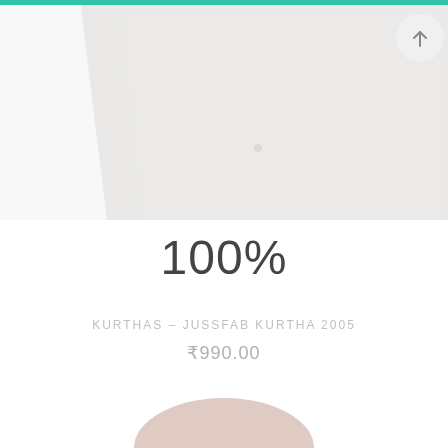[Figure (photo): Tilted white/light grey fabric or clothing item (kurtha) shown at an angle on a white background, occupying the upper portion of the page. A circular icon button is visible in the top right corner.]
100%
KURTHAS – JUSSFAB KURTHA 2005
₹990.00
[Figure (photo): Partial view of another clothing product at the bottom of the page, pinkish/mauve color, partially cropped.]